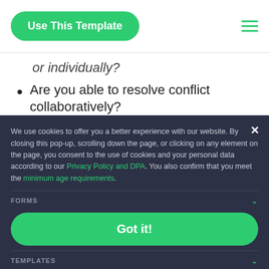Use This Template
or individually?
Are you able to resolve conflict collaboratively?
Would you change anything in the team work process?
We use cookies to offer you a better experience with our website. By closing this pop-up, scrolling down the page, or clicking on any element on the page, you consent to the use of cookies and your personal data according to our Privacy Policy and DPA. You also confirm that you meet the minimum age requirements.
FORMS
Got it!
TEMPLATES